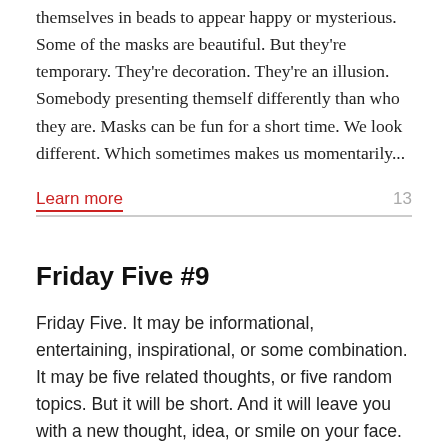Fat Tuesday. Some are putting on masks and wrapping themselves in beads to appear happy or mysterious. Some of the masks are beautiful. But they're temporary. They're decoration. They're an illusion. Somebody presenting themself differently than who they are. Masks can be fun for a short time. We look different. Which sometimes makes us momentarily...
Learn more
13
Friday Five #9
Friday Five. It may be informational, entertaining, inspirational, or some combination. It may be five related thoughts, or five random topics. But it will be short. And it will leave you with a new thought, idea, or smile on your face. 1. R-E-S-P-E-C-T. Matt Walsh takes issue with the stereotypes of husbands and waxes eloquent.